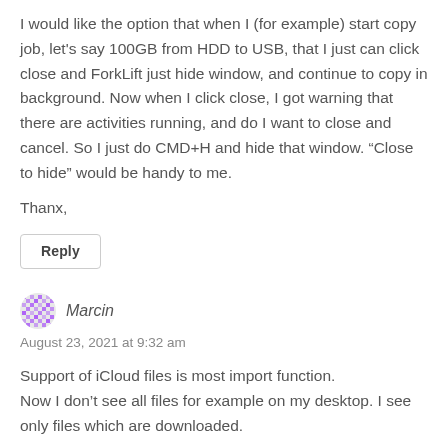I would like the option that when I (for example) start copy job, let's say 100GB from HDD to USB, that I just can click close and ForkLift just hide window, and continue to copy in background. Now when I click close, I got warning that there are activities running, and do I want to close and cancel. So I just do CMD+H and hide that window. “Close to hide” would be handy to me.
Thanx,
Reply
Marcin
August 23, 2021 at 9:32 am
Support of iCloud files is most import function.
Now I don’t see all files for example on my desktop. I see only files which are downloaded.
Reply